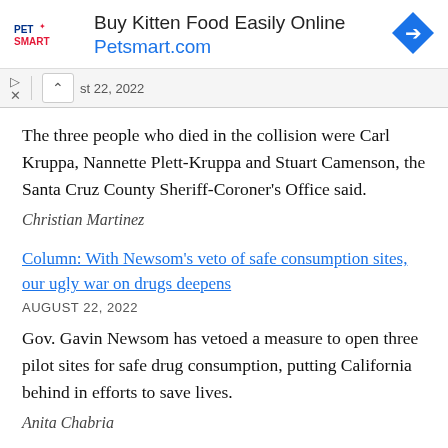[Figure (infographic): PetSmart advertisement banner: 'Buy Kitten Food Easily Online / Petsmart.com' with PetSmart logo and blue diamond arrow icon]
st 22, 2022
The three people who died in the collision were Carl Kruppa, Nannette Plett-Kruppa and Stuart Camenson, the Santa Cruz County Sheriff-Coroner's Office said.
Christian Martinez
Column: With Newsom's veto of safe consumption sites, our ugly war on drugs deepens
AUGUST 22, 2022
Gov. Gavin Newsom has vetoed a measure to open three pilot sites for safe drug consumption, putting California behind in efforts to save lives.
Anita Chabria